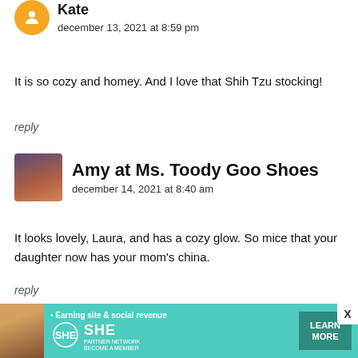Kate
december 13, 2021 at 8:59 pm
It is so cozy and homey. And I love that Shih Tzu stocking!
reply
Amy at Ms. Toody Goo Shoes
december 14, 2021 at 8:40 am
It looks lovely, Laura, and has a cozy glow. So mice that your daughter now has your mom's china.
reply
rosemary@myhomeandtravels
[Figure (infographic): Advertisement banner for SHE Media Partner Network with text 'Earning site & social revenue', SHE logo, 'PARTNER NETWORK BECOME A MEMBER', and a 'LEARN MORE' button.]